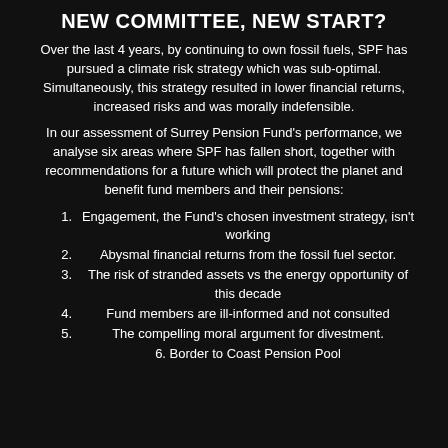NEW COMMITTEE, NEW START?
Over the last 4 years, by continuing to own fossil fuels, SPF has pursued a climate risk strategy which was sub-optimal. Simultaneously, this strategy resulted in lower financial returns, increased risks and was morally indefensible.
In our assessment of Surrey Pension Fund's performance, we analyse six areas where SPF has fallen short, together with recommendations for a future which will protect the planet and benefit fund members and their pensions:
1. Engagement, the Fund's chosen investment strategy, isn't working
2. Abysmal financial returns from the fossil fuel sector.
3. The risk of stranded assets vs the energy opportunity of this decade
4. Fund members are ill-informed and not consulted
5. The compelling moral argument for divestment.
6. Border to Coast Pension Pool